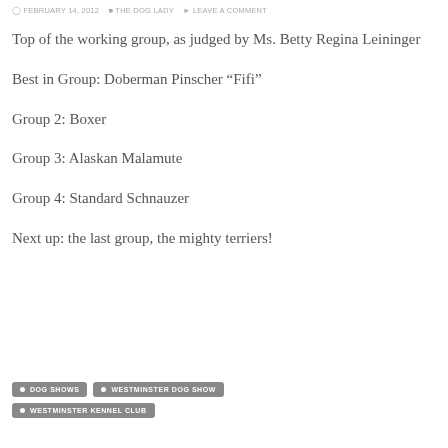FEBRUARY 14, 2012  THE DOG LADY  LEAVE A COMMENT
Top of the working group, as judged by Ms. Betty Regina Leininger
Best in Group:  Doberman Pinscher  “Fifi”
Group 2:  Boxer
Group 3:  Alaskan Malamute
Group 4:  Standard Schnauzer
Next up:  the last group, the mighty terriers!
DOG SHOWS
WESTMINSTER DOG SHOW
WESTMINSTER KENNEL CLUB